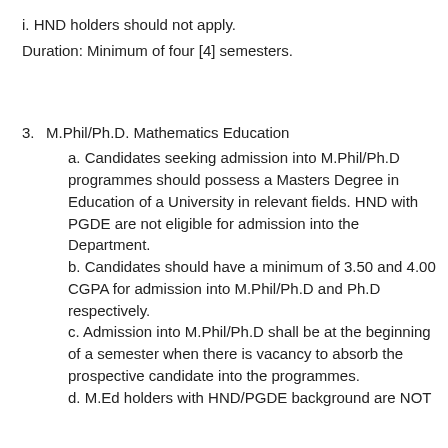i. HND holders should not apply.
Duration: Minimum of four [4] semesters.
3. M.Phil/Ph.D. Mathematics Education
a. Candidates seeking admission into M.Phil/Ph.D programmes should possess a Masters Degree in Education of a University in relevant fields. HND with PGDE are not eligible for admission into the Department.
b. Candidates should have a minimum of 3.50 and 4.00 CGPA for admission into M.Phil/Ph.D and Ph.D respectively.
c. Admission into M.Phil/Ph.D shall be at the beginning of a semester when there is vacancy to absorb the prospective candidate into the programmes.
d. M.Ed holders with HND/PGDE background are NOT